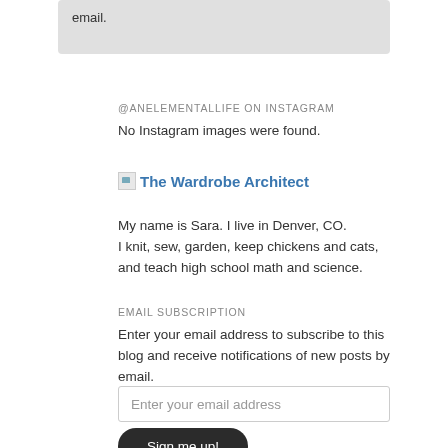email.
@ANELEMENTALLIFE ON INSTAGRAM
No Instagram images were found.
[Figure (other): Broken image icon followed by link text 'The Wardrobe Architect']
My name is Sara. I live in Denver, CO.
I knit, sew, garden, keep chickens and cats, and teach high school math and science.
EMAIL SUBSCRIPTION
Enter your email address to subscribe to this blog and receive notifications of new posts by email.
Enter your email address
Sign me up!